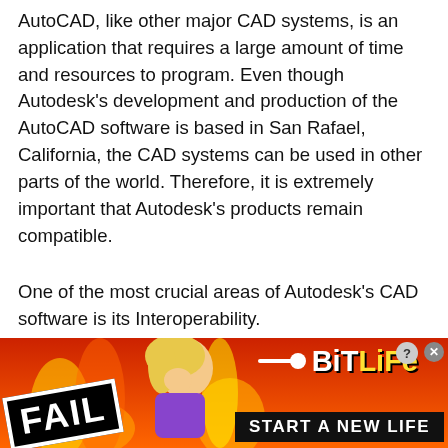AutoCAD, like other major CAD systems, is an application that requires a large amount of time and resources to program. Even though Autodesk's development and production of the AutoCAD software is based in San Rafael, California, the CAD systems can be used in other parts of the world. Therefore, it is extremely important that Autodesk's products remain compatible.
One of the most crucial areas of Autodesk's CAD software is its Interoperability.
Interoperability is the ability for a customer's system to connect to another's. This includes the ability of applications to run from a common platform, to transfer file
[Figure (other): Advertisement banner for BitLife game showing 'FAIL' badge, cartoon character, flames, sperm icon, BitLife logo, and 'START A NEW LIFE' text. Infolinks label in top-left corner.]